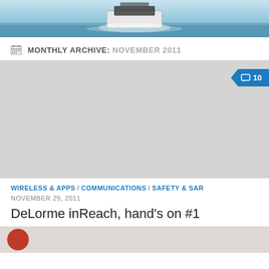[Figure (photo): Boat on water, header photo with sky and ocean backdrop]
MONTHLY ARCHIVE: NOVEMBER 2011
[Figure (photo): Gray placeholder image for article with comment badge showing 10 comments]
WIRELESS & APPS / COMMUNICATIONS / SAFETY & SAR
NOVEMBER 29, 2011
DeLorme inReach, hand's on #1
[Figure (photo): Article thumbnail strip with red circular avatar at left]